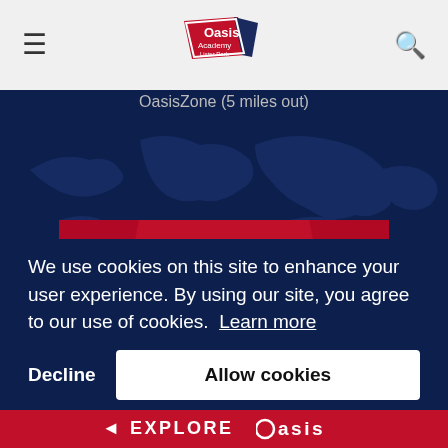[Figure (logo): Oasis Academy Lister Park logo in navigation bar]
OasisZone (5 miles out)
[Figure (other): Academy Map button - red rectangle with white text]
[Figure (logo): Oasis Academy logo centered on dark background]
We use cookies on this site to enhance your user experience. By using our site, you agree to our use of cookies. Learn more
Decline
Allow cookies
◄ EXPLORE Oasis